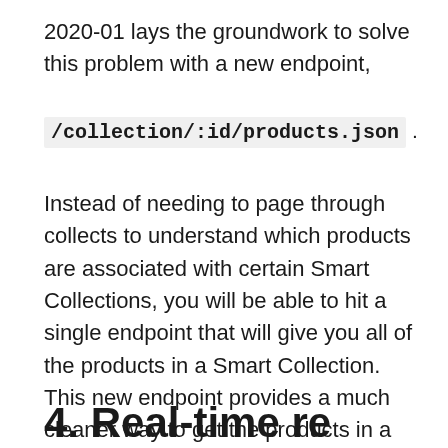2020-01 lays the groundwork to solve this problem with a new endpoint,
/collection/:id/products.json .
Instead of needing to page through collects to understand which products are associated with certain Smart Collections, you will be able to hit a single endpoint that will give you all of the products in a Smart Collection. This new endpoint provides a much cleaner way to get the products in a Smart Collection, and opens the door for real-time results that don't need to be powered by Collects.
4. Real-time results